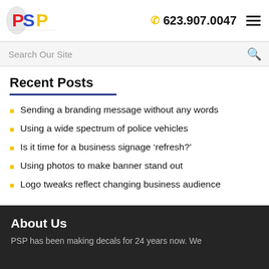[Figure (logo): PSP logo with colorful bowling pin letters]
623.907.0047
Search Our Site
Recent Posts
Sending a branding message without any words
Using a wide spectrum of police vehicles
Is it time for a business signage 'refresh?'
Using photos to make banner stand out
Logo tweaks reflect changing business audience
About Us
PSP has been making decals for 24 years now. We